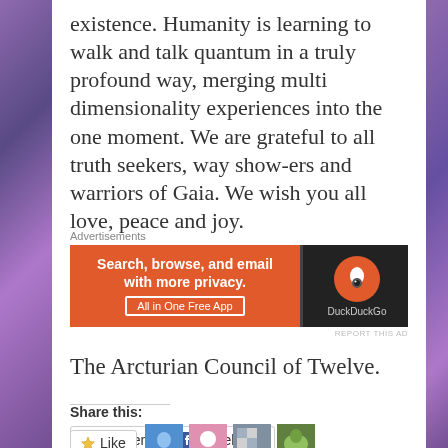existence. Humanity is learning to walk and talk quantum in a truly profound way, merging multi dimensionality experiences into the one moment. We are grateful to all truth seekers, way show-ers and warriors of Gaia. We wish you all love, peace and joy.
[Figure (screenshot): DuckDuckGo advertisement banner with orange left section reading 'Search, browse, and email with more privacy. All in One Free App' and dark right section with DuckDuckGo logo]
The Arcturian Council of Twelve.
Share this:
Twitter   Facebook
Like